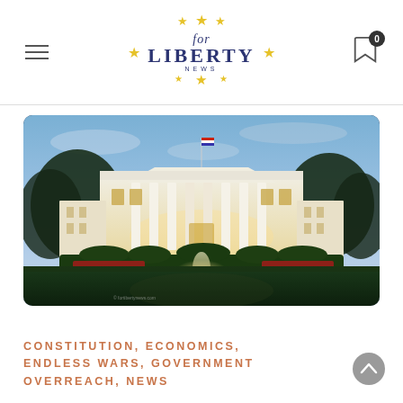for LIBERTY NEWS
[Figure (photo): The White House photographed at dusk/twilight, illuminated with warm light against a blue evening sky, with trees on either side and a fountain visible in the foreground.]
CONSTITUTION, ECONOMICS, ENDLESS WARS, GOVERNMENT OVERREACH, NEWS